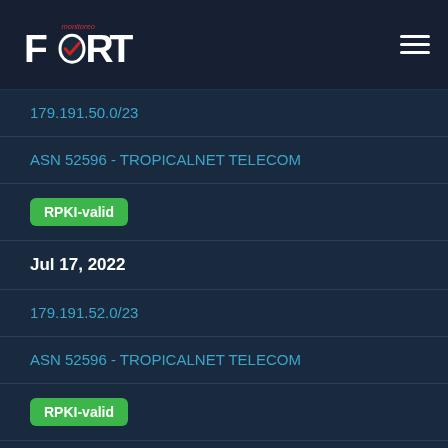[Figure (logo): FORT Monitoreo logo with hamburger menu icon]
179.191.50.0/23
ASN 52596 - TROPICALNET TELECOM
RPKI-valid
Jul 17, 2022
179.191.52.0/23
ASN 52596 - TROPICALNET TELECOM
RPKI-valid
Jul 17, 2022